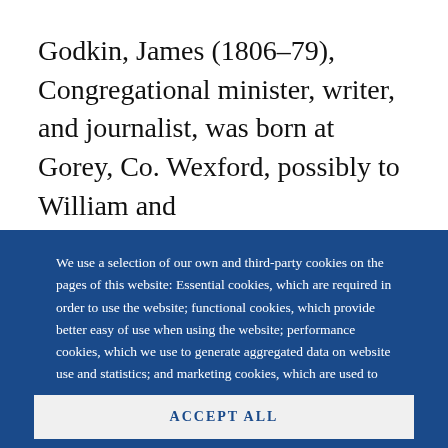Godkin, James (1806–79), Congregational minister, writer, and journalist, was born at Gorey, Co. Wexford, possibly to William and
We use a selection of our own and third-party cookies on the pages of this website: Essential cookies, which are required in order to use the website; functional cookies, which provide better easy of use when using the website; performance cookies, which we use to generate aggregated data on website use and statistics; and marketing cookies, which are used to display relevant content and advertising. If you choose "ACCEPT ALL", you consent to the use of all cookies. You can accept and
ACCEPT ALL